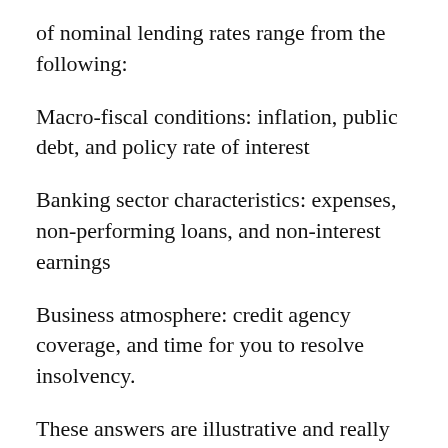of nominal lending rates range from the following:
Macro-fiscal conditions: inflation, public debt, and policy rate of interest
Banking sector characteristics: expenses, non-performing loans, and non-interest earnings
Business atmosphere: credit agency coverage, and time for you to resolve insolvency.
These answers are illustrative and really should be construed carefully as numerous additional factors are connected with rates of interest (e.g., productivity trends, census, and cash supply trends), and much deeper country-level analysis is needed prior to providing an in-depth the